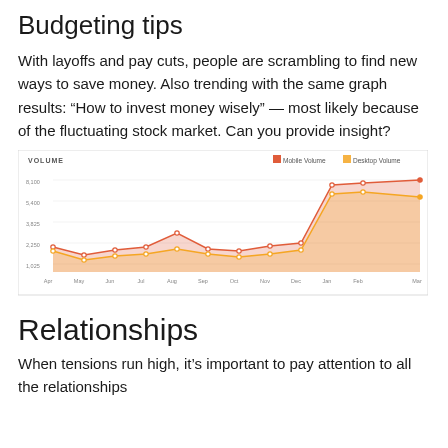Budgeting tips
With layoffs and pay cuts, people are scrambling to find new ways to save money. Also trending with the same graph results: “How to invest money wisely” — most likely because of the fluctuating stock market. Can you provide insight?
[Figure (line-chart): Line chart showing Mobile Volume and Desktop Volume over approximately 12 months (Apr to Apr/Mar). Mobile volume is shown in red/orange with a shaded area, Desktop volume in light orange. Mobile volume rises sharply at the end. X-axis: monthly labels from Apr to Mar/Apr. Y-axis: volume values from ~1,000 to 8,100+.]
Relationships
When tensions run high, it’s important to pay attention to all the relationships